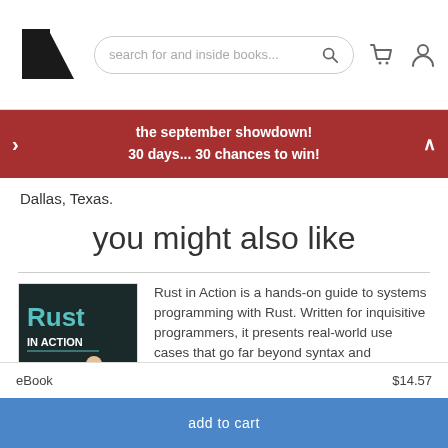[Figure (screenshot): Manning Publications website header with logo, search bar, cart and user icons]
[Figure (infographic): Red promotional banner reading 'the september showdown! 30 days... 30 chances to win!' with left and right navigation arrows]
Dallas, Texas.
you might also like
[Figure (photo): Book cover of 'Rust in Action' showing a martial artist in red pants]
Rust in Action is a hands-on guide to systems programming with Rust. Written for inquisitive programmers, it presents real-world use cases that go far beyond syntax and structure. You... more
eBook
$14.57
add to cart